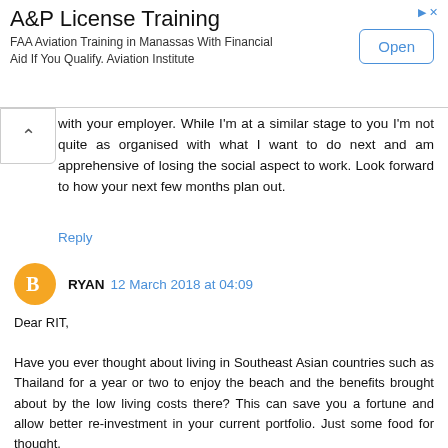[Figure (other): Advertisement banner for A&P License Training. Title: 'A&P License Training'. Description: 'FAA Aviation Training in Manassas With Financial Aid If You Qualify. Aviation Institute'. Button: 'Open'. Ad icons in top right.]
with your employer. While I'm at a similar stage to you I'm not quite as organised with what I want to do next and am apprehensive of losing the social aspect to work. Look forward to how your next few months plan out.
Reply
RYAN 12 March 2018 at 04:09
Dear RIT,

Have you ever thought about living in Southeast Asian countries such as Thailand for a year or two to enjoy the beach and the benefits brought about by the low living costs there? This can save you a fortune and allow better re-investment in your current portfolio. Just some food for thought.